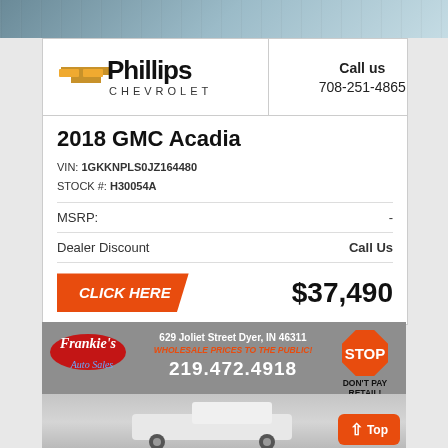[Figure (photo): Top strip showing dealership/car image background]
[Figure (logo): Phillips Chevrolet logo with gold bowtie emblem]
Call us
708-251-4865
2018 GMC Acadia
VIN: 1GKKNPLS0JZ164480
STOCK #: H30054A
MSRP: -
Dealer Discount   Call Us
CLICK HERE   $37,490
[Figure (photo): Frankie's Auto Sales advertisement banner with white truck, address 629 Joliet Street Dyer IN 46311, phone 219.472.4918, stop sign graphic]
Top